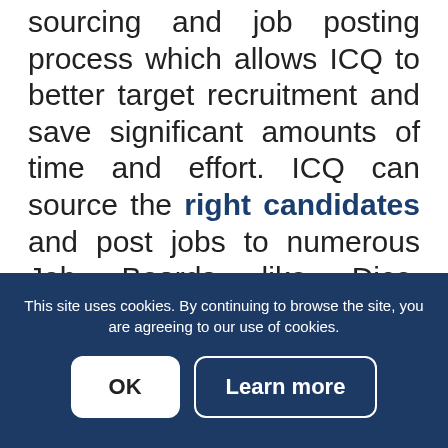sourcing and job posting process which allows ICQ to better target recruitment and save significant amounts of time and effort. ICQ can source the right candidates and post jobs to numerous Job Boards like Dice, Monster, CareerBuilder, LinkedIn, Facebook, Simply Hired, Twitter and more.
The ICQ Client Portal provides direct access for clients to seamlessly post jobs, identify industry specific skills and competencies, review applicants, screen/interview applicants, make final selection, and manage the sourcing process.
This site uses cookies. By continuing to browse the site, you are agreeing to our use of cookies.